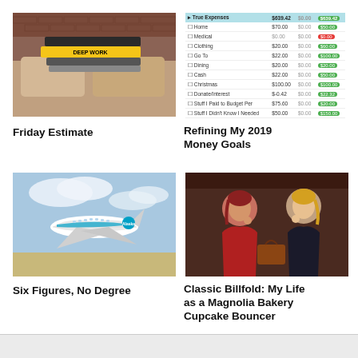[Figure (photo): Stack of books including 'Deep Work' on a couch with brick wall background]
Friday Estimate
[Figure (table-as-image): Budget/expense tracking table showing True Expenses with categories like Home, Medical, Clothing, Go To, Dining, Cash, Christmas, Donate/Interest, Stuff I Paid to Budget Per, Stuff I Didn't Know I Needed. Columns show dollar amounts and green/red budget badges.]
Refining My 2019 Money Goals
[Figure (photo): Alaska Airlines plane in flight against blue sky]
Six Figures, No Degree
[Figure (photo): Two women sitting and eating cupcakes or pastries indoors]
Classic Billfold: My Life as a Magnolia Bakery Cupcake Bouncer